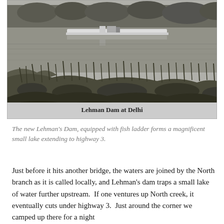[Figure (photo): Black and white photograph of Lehman Dam at Delhi, showing a dam structure on a calm river with reeds and grassy banks in the foreground and trees in the background. The caption 'Lehman Dam at Delhi' appears within the image at the bottom.]
The new Lehman's Dam, equipped with fish ladder forms a magnificent small lake extending to highway 3.
Just before it hits another bridge, the waters are joined by the North branch as it is called locally, and Lehman's dam traps a small lake of water further upstream.  If one ventures up North creek, it eventually cuts under highway 3.  Just around the corner we camped up there for a night